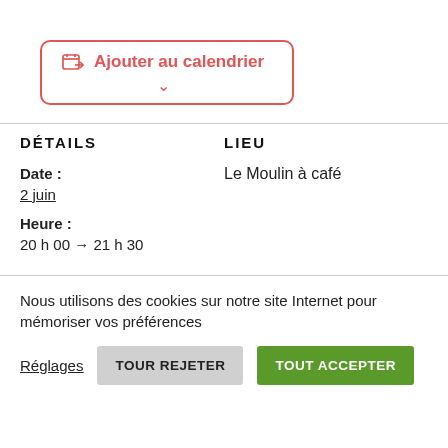[Figure (other): Button with calendar icon labeled 'Ajouter au calendrier' with a red border and chevron dropdown]
DÉTAILS
LIEU
Date :
2 juin
Le Moulin à café
Heure :
20 h 00 → 21 h 30
Nous utilisons des cookies sur notre site Internet pour mémoriser vos préférences
Réglages
TOUR REJETER
TOUT ACCEPTER